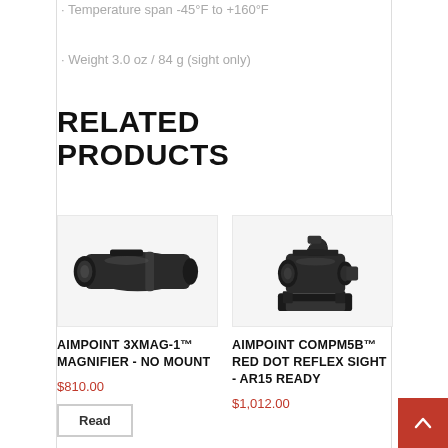· Temperature span -45°F to +160°F
· Weight 3.0 oz / 84 g (sight only)
RELATED PRODUCTS
[Figure (photo): Aimpoint 3XMag-1 magnifier product photo, black cylindrical device]
AIMPOINT 3XMAG-1™ MAGNIFIER - NO MOUNT
$810.00
[Figure (photo): Aimpoint CompM5b red dot reflex sight product photo, black tactical sight with mount]
AIMPOINT COMPM5B™ RED DOT REFLEX SIGHT - AR15 READY
$1,012.00